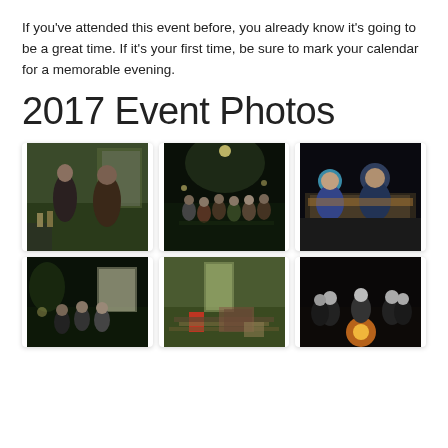If you've attended this event before, you already know it's going to be a great time. If it's your first time, be sure to mark your calendar for a memorable evening.
2017 Event Photos
[Figure (photo): Two men standing outdoors at night near a building with lights]
[Figure (photo): Group of people seated outdoors at night on chairs]
[Figure (photo): People gathered around a food table at night]
[Figure (photo): People gathered outdoors at night near building]
[Figure (photo): Outdoor setup with chairs, cooler, and framed pictures on ground]
[Figure (photo): Group of women smiling near a campfire at night]